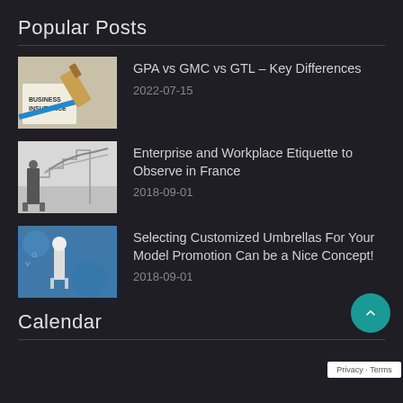Popular Posts
GPA vs GMC vs GTL – Key Differences
2022-07-15
Enterprise and Workplace Etiquette to Observe in France
2018-09-01
Selecting Customized Umbrellas For Your Model Promotion Can be a Nice Concept!
2018-09-01
Calendar